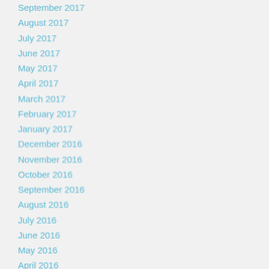September 2017
August 2017
July 2017
June 2017
May 2017
April 2017
March 2017
February 2017
January 2017
December 2016
November 2016
October 2016
September 2016
August 2016
July 2016
June 2016
May 2016
April 2016
March 2016
Categories
Ashtray and Lighter Set